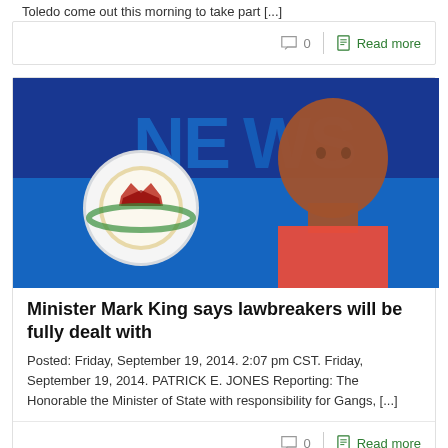Toledo come out this morning to take part [...]
0   Read more
[Figure (photo): News image showing a man in a red shirt against a blue NEWS background with a police/crown badge logo on the left.]
Minister Mark King says lawbreakers will be fully dealt with
Posted: Friday, September 19, 2014. 2:07 pm CST. Friday, September 19, 2014. PATRICK E. JONES Reporting: The Honorable the Minister of State with responsibility for Gangs, [...]
0   Read more